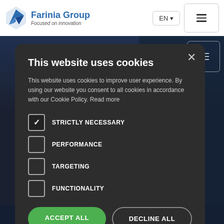[Figure (screenshot): Farinia Group website with cookie consent dialog overlay. The website header shows the Farinia Group logo with tagline 'Focused on innovation', EN language selector, and hamburger menu. The background shows a dark blurred hero image with partial text 'O END:', 'R', 'CE', and body text about 'European', 'tective', 'protection'. Bottom text reads 'combined their know-how to design and'.]
This website uses cookies
This website uses cookies to improve user experience. By using our website you consent to all cookies in accordance with our Cookie Policy. Read more
STRICTLY NECESSARY (checked)
PERFORMANCE (unchecked)
TARGETING (unchecked)
FUNCTIONALITY (unchecked)
ACCEPT ALL | DECLINE ALL | SHOW DETAILS